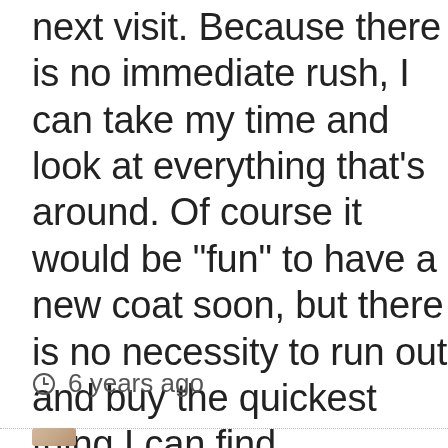next visit. Because there is no immediate rush, I can take my time and look at everything that's around. Of course it would be "fun" to have a new coat soon, but there is no necessity to run out and buy the quickest thing I can find.
⊙ 6 years ago